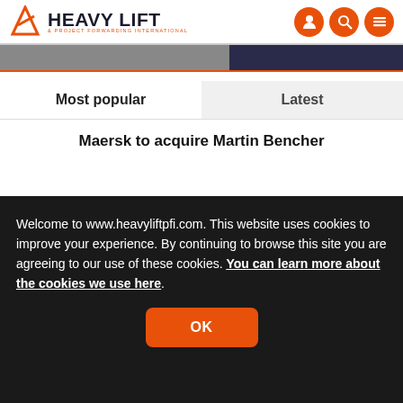HEAVY LIFT & PROJECT FORWARDING INTERNATIONAL
[Figure (screenshot): Partial image strip showing a gray and dark background photograph]
Most popular | Latest
Maersk to acquire Martin Bencher
Welcome to www.heavyliftpfi.com. This website uses cookies to improve your experience. By continuing to browse this site you are agreeing to our use of these cookies. You can learn more about the cookies we use here.